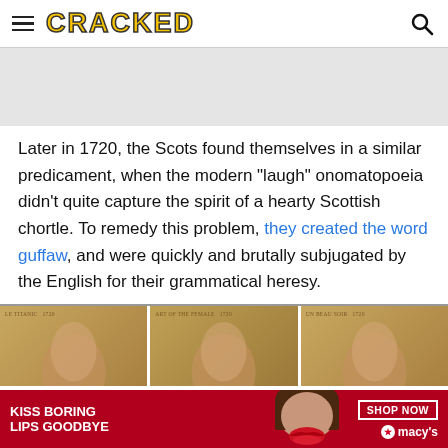CRACKED
[Figure (other): Light gray advertisement placeholder rectangle]
Later in 1720, the Scots found themselves in a similar predicament, when the modern "laugh" onomatopoeia didn't quite capture the spirit of a hearty Scottish chortle. To remedy this problem, they created the word guffaw, and were quickly and brutally subjugated by the English for their grammatical heresy.
[Figure (photo): Three vintage-style portrait panels side by side showing aged paper documents with faint faces]
[Figure (other): Macy's advertisement banner: KISS BORING LIPS GOODBYE with SHOP NOW button and Macy's logo]